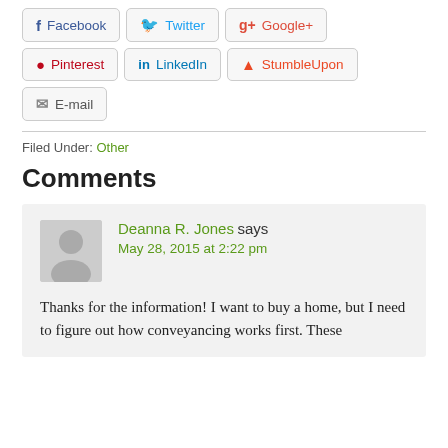[Figure (infographic): Social share buttons: Facebook, Twitter, Google+, Pinterest, LinkedIn, StumbleUpon, E-mail]
Filed Under: Other
Comments
Deanna R. Jones says
May 28, 2015 at 2:22 pm

Thanks for the information! I want to buy a home, but I need to figure out how conveyancing works first. These